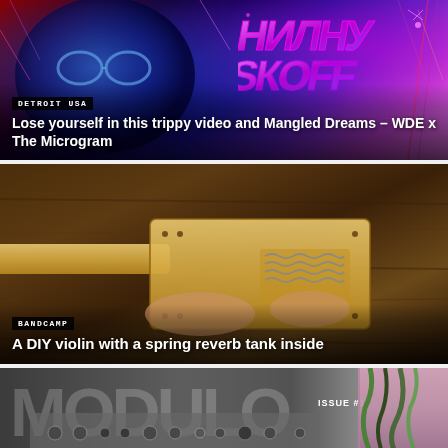[Figure (photo): Colorful psychedelic/graffiti artwork with blue-tinted face and vibrant pink/purple neon graffiti text on glitchy background, tagged DETROIT USA]
DETROIT USA
Lose yourself in this trippy video and Mangled Dreams – WDE x The Microgram
[Figure (photo): Hands holding a wooden DIY violin with a spring reverb tank inside, on a dark wooden workbench, tagged BANDCAMP]
BANDCAMP
A DIY violin with a spring reverb tank inside
[Figure (photo): Partially visible magazine cover with large white text 'MODULO' and 'ISSUE #1', showing synthesizer modules and patch cables on the right side]